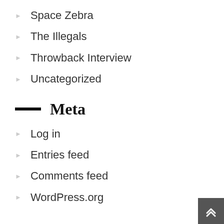Space Zebra
The Illegals
Throwback Interview
Uncategorized
Meta
Log in
Entries feed
Comments feed
WordPress.org